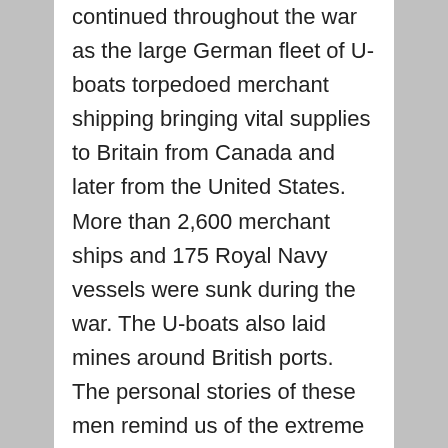continued throughout the war as the large German fleet of U-boats torpedoed merchant shipping bringing vital supplies to Britain from Canada and later from the United States. More than 2,600 merchant ships and 175 Royal Navy vessels were sunk during the war. The U-boats also laid mines around British ports. The personal stories of these men remind us of the extreme danger they faced at sea as Germany tried to starve Britain into submission. Others served in the Mediterranean battles with the Italian Navy, in the Far East, and in the freezing waters of the Arctic Circle.